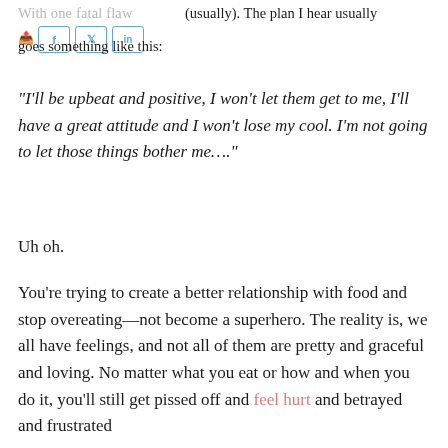With one fatal flaw (usually). The plan I hear usually goes something like this:
“I’ll be upbeat and positive, I won’t let them get to me, I’ll have a great attitude and I won’t lose my cool. I’m not going to let those things bother me.…”
Uh oh.
You’re trying to create a better relationship with food and stop overeating—not become a superhero. The reality is, we all have feelings, and not all of them are pretty and graceful and loving. No matter what you eat or how and when you do it, you’ll still get pissed off and feel hurt and betrayed and frustrated